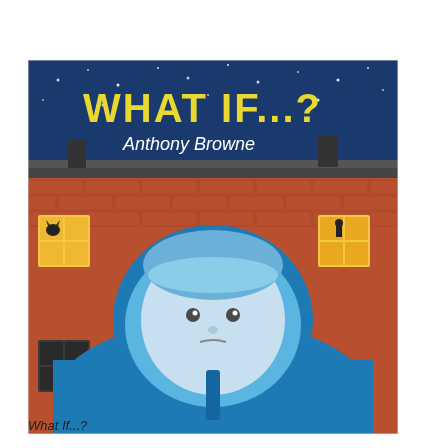[Figure (illustration): Book cover of 'What If...?' by Anthony Browne. Shows a child with blue hair wearing a blue parka jacket, standing in front of a brick building at night. The sky is dark blue with stars. The title 'WHAT IF...?' is in large yellow letters at the top, with the author's name 'Anthony Browne' in white below it. Windows in the brick building are lit with warm yellow light.]
What If...?